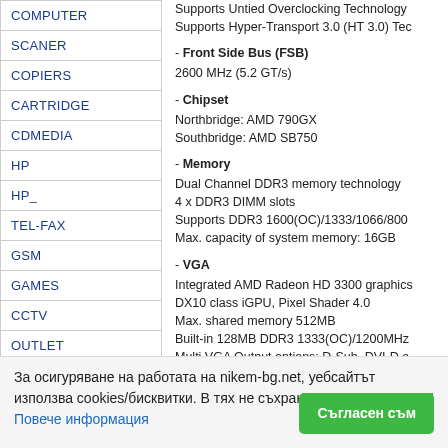COMPUTER
SCANER
COPIERS
CARTRIDGE
CDMEDIA
HP
HP_
TEL-FAX
GSM
GAMES
CCTV
OUTLET
Supports Untied Overclocking Technology
Supports Hyper-Transport 3.0 (HT 3.0) Tec
- Front Side Bus (FSB)
2600 MHz (5.2 GT/s)
- Chipset
Northbridge: AMD 790GX
Southbridge: AMD SB750
- Memory
Dual Channel DDR3 memory technology
4 x DDR3 DIMM slots
Supports DDR3 1600(OC)/1333/1066/800
Max. capacity of system memory: 16GB
- VGA
Integrated AMD Radeon HD 3300 graphics
DX10 class iGPU, Pixel Shader 4.0
Max. shared memory 512MB
Built-in 128MB DDR3 1333(OC)/1200MHz
Multi VGA Output options: D-Sub, DVI-D a
Supports HDMI Technology with max. reso
Supports Dual-link DVI with max. resolutio
Supports D-Sub with max. resolution up to
Supports HDCP function
Supports Full HD 1080p Blu-ray (BD) / HD
- Expansion Slots
3 x PCI Express 2.0 x16 slots (blue: single
1 x PCI Express 2.0 x1 slot
5 x PCI slots
Supports ATI™ Quad CrossFireX™, 3-Wa
- Connectors
6 x SATAII 3.0 G... ... Port R
Plug* functions
За осигуряване на работата на nikem-bg.net, уебсайтът използва cookies/бисквитки. В тях не съхраняваме лични данни! Повече информация